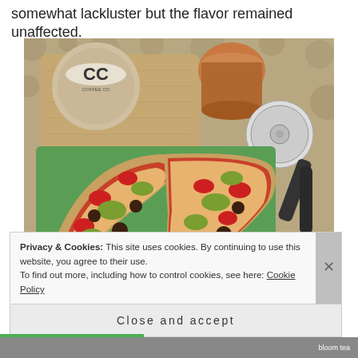somewhat lackluster but the flavor remained unaffected.
[Figure (photo): Pizza flatbread sliced into pieces with tomatoes, artichoke hearts, dark olives/sausage on a green cutting board, with a pizza cutter and drink containers in the background on a patterned surface]
Privacy & Cookies: This site uses cookies. By continuing to use this website, you agree to their use.
To find out more, including how to control cookies, see here: Cookie Policy
Close and accept